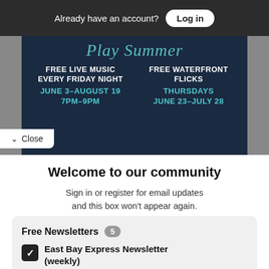Already have an account? Log in
[Figure (screenshot): Dark navy banner advertising 'Play Summer' events: FREE LIVE MUSIC EVERY FRIDAY NIGHT, JUNE 3–AUGUST 19, 7PM–9PM and FREE WATERFRONT FLICKS, THURSDAYS, JUNE 23–JULY 28]
Close
Welcome to our community
Sign in or register for email updates and this box won't appear again. We're grateful for your support.
By registering you confirm you are 21+.
Free Newsletters  5
East Bay Express Newsletter (weekly)
News stories, arts and dining